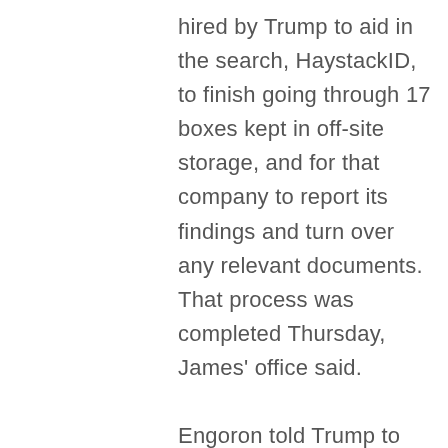hired by Trump to aid in the search, HaystackID, to finish going through 17 boxes kept in off-site storage, and for that company to report its findings and turn over any relevant documents. That process was completed Thursday, James' office said.

Engoron told Trump to pay the money directly to James' office and for the attorney general to hold the money in an escrow account while Trump's legal team